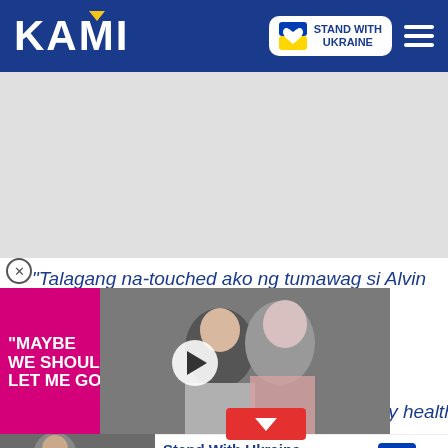KAMI — Stand With Ukraine
[Figure (screenshot): Gray advertisement placeholder area]
"Talagang na-touched ako ng tumawag si Alvin ni Kris ng ang pagbati ng Happy ng SnR GC dahil padadalhan
[Figure (photo): Video overlay showing couple — man in white shirt and woman in red/white dress, with pink panel text MAYBE WE SHOULD LET ME GO and play button]
ko na may health problem
Stand With Ukraine — Donate to save the lives of millions of children